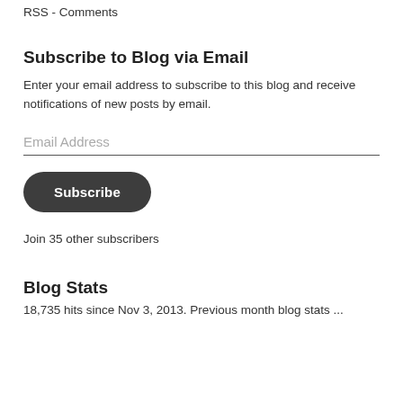RSS - Comments
Subscribe to Blog via Email
Enter your email address to subscribe to this blog and receive notifications of new posts by email.
Email Address
Subscribe
Join 35 other subscribers
Blog Stats
18,735 hits since Nov 3, 2013. Previous month blog stats ...